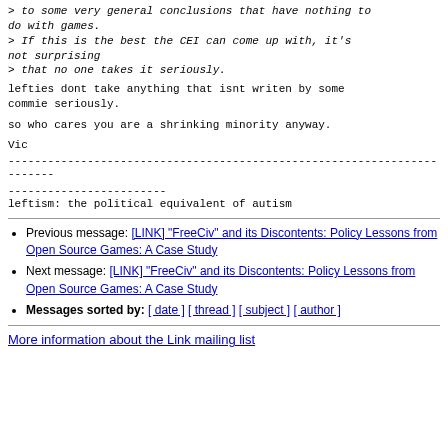> to some very general conclusions that have nothing to do with games.
> If this is the best the CEI can come up with, it's not surprising
> that no one takes it seriously.
lefties dont take anything that isnt writen by some commie seriously.
so who cares you are a shrinking minority anyway.
Vic
------------------------------------------------------------------------
------------------------
leftism: the political equivalent of autism
Previous message: [LINK] "FreeCiv" and its Discontents: Policy Lessons from Open Source Games: A Case Study
Next message: [LINK] "FreeCiv" and its Discontents: Policy Lessons from Open Source Games: A Case Study
Messages sorted by: [ date ] [ thread ] [ subject ] [ author ]
More information about the Link mailing list